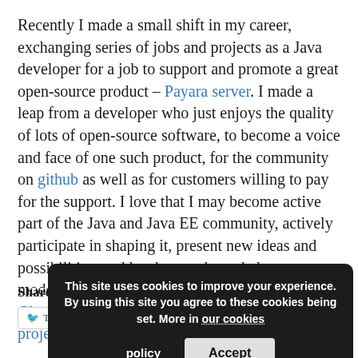Recently I made a small shift in my career, exchanging series of jobs and projects as a Java developer for a job to support and promote a great open-source product – Payara server. I made a leap from a developer who just enjoys the quality of lots of open-source software, to become a voice and face of one such product, for the community on github as well as for customers willing to pay for the support. I love that I may become active part of the Java and Java EE community, actively participate in shaping it, present new ideas and possibilities, and last but not least, help to modernize, support and shape the future of GlassFish server extended by the Payara server project. (more...)
Share this:
This site uses cookies to improve your experience. By using this site you agree to these cookies being set. More in our cookies policy.